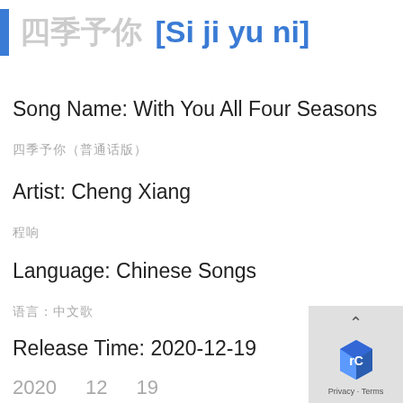四季予你 [Si ji yu ni]
Song Name: With You All Four Seasons
四季予你（普通话版）
Artist: Cheng Xiang
程响
Language: Chinese Songs
语言：中文歌
Release Time: 2020-12-19
2020   12   19